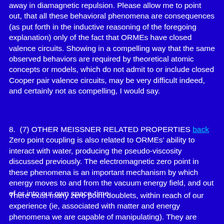away in diamagnetic repulsion. Please allow me to point out, that all these behavioral phenomena are consequences (as put forth in the inductive reasoning of the foregoing explanation) only of the fact that ORMEs have closed valence circuits. Showing in a compelling way that the same observed behaviors are required by theoretical atomic concepts or models, which do not admit to or include closed Cooper pair valence circuits, may be very difficult indeed, and certainly not as compelling, I would say.
8. (7) OTHER MEISSNER RELATED PROPERTIES back Zero point coupling is also related to ORMEs' ability to interact with water, producing the pseudo-viscosity discussed previously. The electromagnetic zero point in these phenomena is an important mechanism by which energy moves to and from the vacuum energy field, and out of or into our own space-time.
There exist many zero point doublets, within reach of our experience (ie, associated with matter and energy phenomena we are capable of manipulating). They are points where physical and transcendental resonances